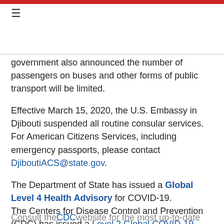government also announced the number of passengers on buses and other forms of public transport will be limited.
Effective March 15, 2020, the U.S. Embassy in Djibouti suspended all routine consular services. For American Citizens Services, including emergency passports, please contact DjiboutiACS@state.gov.
The Department of State has issued a Global Level 4 Health Advisory for COVID-19.
The Centers for Disease Control and Prevention (CDC) has issued a Level 2 Global COVID-19 Outbreak Notice.
Actions to Take:
Consult the CDC website for the most up-to-date